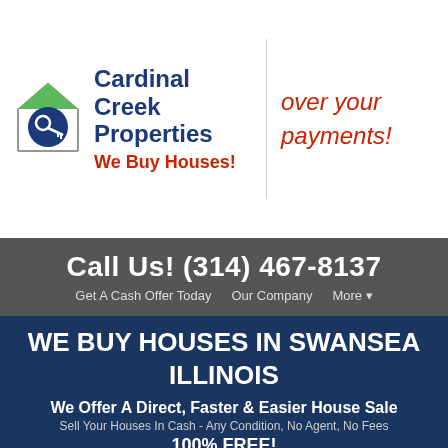[Figure (logo): Cardinal Creek Properties logo: house icon with key, green roof, blue circle]
Cardinal Creek Properties
We Buy Houses!
over your payments!
Call Us! (314) 467-8137
Get A Cash Offer Today    Our Company    More ▾
WE BUY HOUSES IN SWANSEA ILLINOIS
We Offer A Direct, Faster & Easier House Sale
Sell Your Houses In Cash - Any Condition, No Agent, No Fees
100% FREE!
We buy houses in Swansea IL and surrounding counties in any condition. No realtors, no service fees, no commissions, no repairs & move on. Get Your 100%